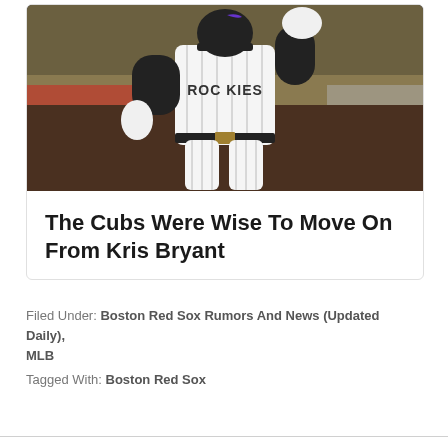[Figure (photo): Baseball player wearing a Colorado Rockies white pinstripe jersey running on the field at night]
The Cubs Were Wise To Move On From Kris Bryant
Filed Under: Boston Red Sox Rumors And News (Updated Daily), MLB
Tagged With: Boston Red Sox